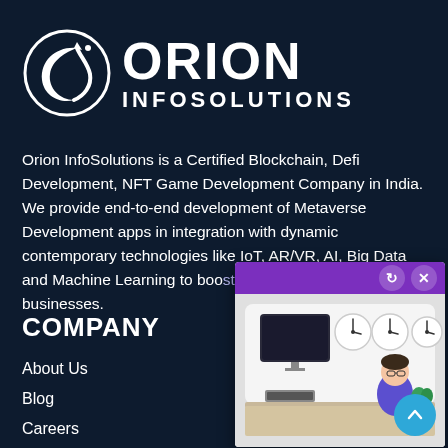[Figure (logo): Orion InfoSolutions logo with crescent/arrow icon and bold text ORION INFOSOLUTIONS on dark navy background]
Orion InfoSolutions is a Certified Blockchain, Defi Development, NFT Game Development Company in India. We provide end-to-end development of Metaverse Development apps in integration with dynamic contemporary technologies like IoT, AR/VR, AI, Big Data and Machine Learning to boost the online-success of businesses.
COMPANY
About Us
Blog
Careers
[Figure (illustration): A popup window with purple title bar showing refresh and close buttons, containing an illustration of an office scene with clocks on the wall, a TV screen, and a person sitting at a desk]